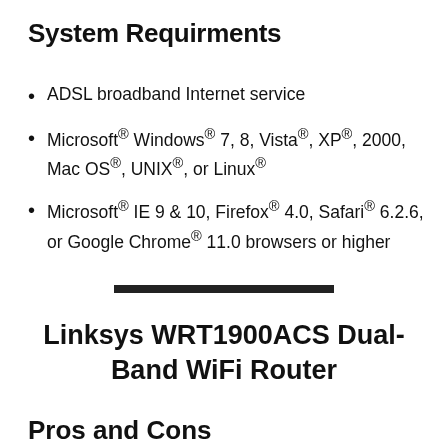System Requirments
ADSL broadband Internet service
Microsoft® Windows® 7, 8, Vista®, XP®, 2000, Mac OS®, UNIX®, or Linux®
Microsoft® IE 9 & 10, Firefox® 4.0, Safari® 6.2.6, or Google Chrome® 11.0 browsers or higher
Linksys WRT1900ACS Dual-Band WiFi Router
Pros and Cons